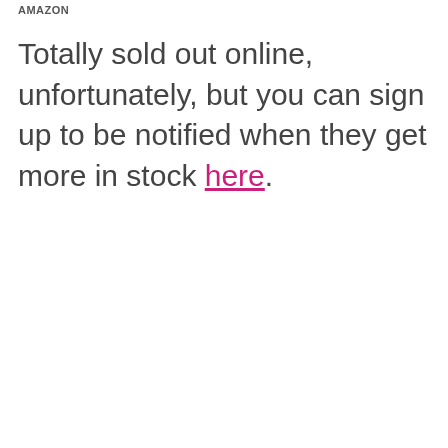AMAZON
Totally sold out online, unfortunately, but you can sign up to be notified when they get more in stock here.